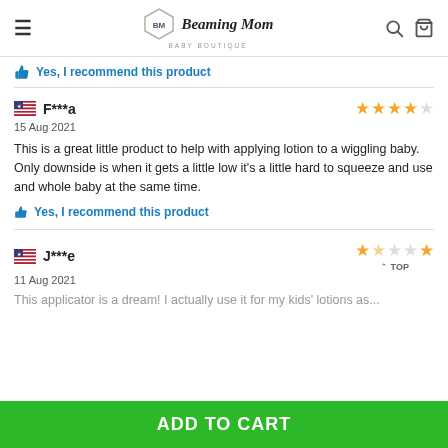Beaming Mom Baby Boutique
Yes, I recommend this product
F***a
15 Aug 2021
This is a great little product to help with applying lotion to a wiggling baby. Only downside is when it gets a little low it's a little hard to squeeze and use and whole baby at the same time.
Yes, I recommend this product
J***e
11 Aug 2021
This applicator is a dream! I actually use it for my kids' lotions as...
ADD TO CART